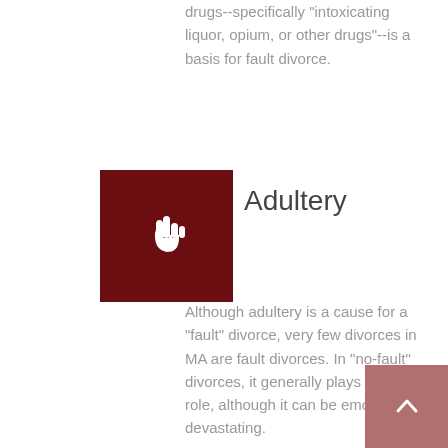drugs--specifically "intoxicating liquor, opium, or other drugs"--is a basis for fault divorce.
[Figure (illustration): Dark red/maroon square icon with a white pointing hand cursor icon in the center]
Adultery
Although adultery is a cause for a "fault" divorce, very few divorces in MA are fault divorces. In "no-fault" divorces, it generally plays no legal role, although it can be emotionally devastating.